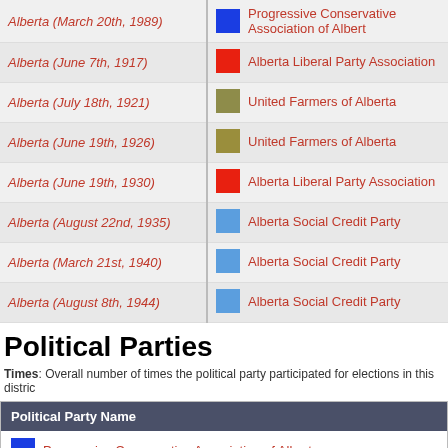| Election | Party |
| --- | --- |
| Alberta (March 20th, 1989) | Progressive Conservative Association of Alberta |
| Alberta (June 7th, 1917) | Alberta Liberal Party Association |
| Alberta (July 18th, 1921) | United Farmers of Alberta |
| Alberta (June 19th, 1926) | United Farmers of Alberta |
| Alberta (June 19th, 1930) | Alberta Liberal Party Association |
| Alberta (August 22nd, 1935) | Alberta Social Credit Party |
| Alberta (March 21st, 1940) | Alberta Social Credit Party |
| Alberta (August 8th, 1944) | Alberta Social Credit Party |
Political Parties
Times: Overall number of times the political party participated for elections in this distric
| Political Party Name |
| --- |
| Progressive Conservative Association of Alberta |
| Alberta New Democratic Party |
| Alberta Social Credit Party |